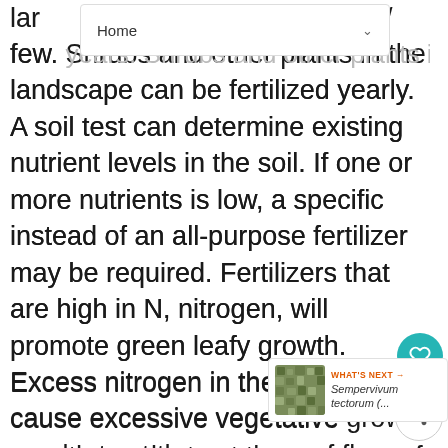Home
few years. Shrubs and other plants in the landscape can be fertilized yearly. A soil test can determine existing nutrient levels in the soil. If one or more nutrients is low, a specific instead of an all-purpose fertilizer may be required. Fertilizers that are high in N, nitrogen, will promote green leafy growth. Excess nitrogen in the soil can cause excessive vegetative growth on plants at the expense of flower bud development. It is best to avoid fertilizing late in the growing season. Applications made at that time can force lush, vegetative growth that will not have a chance to harden off before of cold weather.